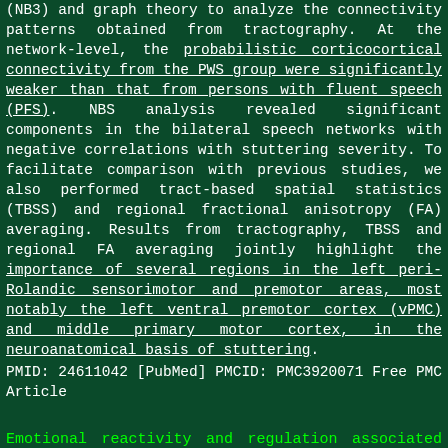(NB3) and graph theory to analyze the connectivity patterns obtained from tractography. At the network-level, the probabilistic corticocortical connectivity from the PWS group were significantly weaker than that from persons with fluent speech (PFS). NBS analysis revealed significant components in the bilateral speech networks with negative correlations with stuttering severity. To facilitate comparison with previous studies, we also performed tract-based spatial statistics (TBSS) and regional fractional anisotropy (FA) averaging. Results from tractography, TBSS and regional FA averaging jointly highlight the importance of several regions in the left peri-Rolandic sensorimotor and premotor areas, most notably the left ventral premotor cortex (vPMC) and middle primary motor cortex, in the neuroanatomical basis of stuttering.
PMID: 24611042 [PubMed] PMCID: PMC3920071 Free PMC Article
Emotional reactivity and regulation associated with fluent and stuttered utterances of preschool-age children who stutter. - EMOCIONAL
J Commun Disord. 2014 Mar-Apr;48:38-51. doi: 10.1016/j.jcomdis.2014.02.001. Epub 2014 Feb 23.